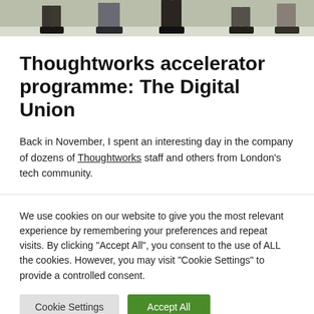[Figure (photo): Bottom of a photo showing people's legs and feet standing, appearing to be in an office or event space.]
Thoughtworks accelerator programme: The Digital Union
Back in November, I spent an interesting day in the company of dozens of Thoughtworks staff and others from London's tech community.
We use cookies on our website to give you the most relevant experience by remembering your preferences and repeat visits. By clicking "Accept All", you consent to the use of ALL the cookies. However, you may visit "Cookie Settings" to provide a controlled consent.